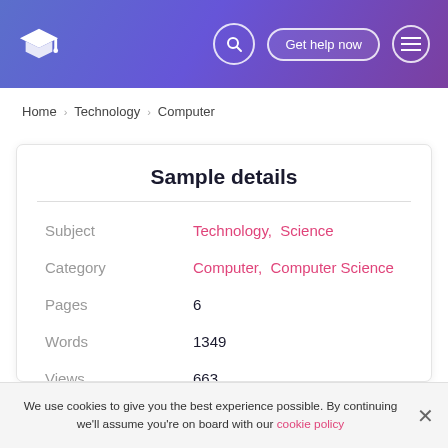Get help now
Home > Technology > Computer
Sample details
| Field | Value |
| --- | --- |
| Subject | Technology,  Science |
| Category | Computer,  Computer Science |
| Pages | 6 |
| Words | 1349 |
| Views | 663 |
We use cookies to give you the best experience possible. By continuing we'll assume you're on board with our cookie policy